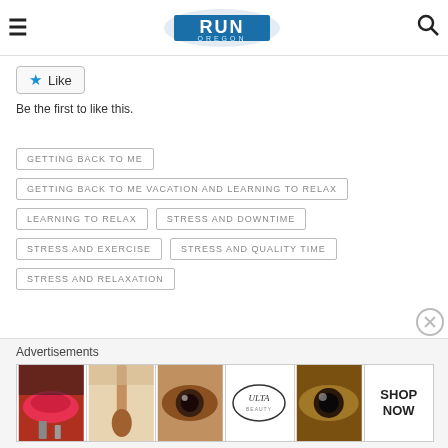RUN OREGON
Like
Be the first to like this.
GETTING BACK TO ME
GETTING BACK TO ME VACATION AND LEARNING TO RELAX
LEARNING TO RELAX
STRESS AND DOWNTIME
STRESS AND EXERCISE
STRESS AND QUALITY TIME
STRESS AND RELAXATION
[Figure (infographic): Advertisements banner with Ulta Beauty cosmetic images showing lips, makeup brushes, eyes, and SHOP NOW text]
Advertisements